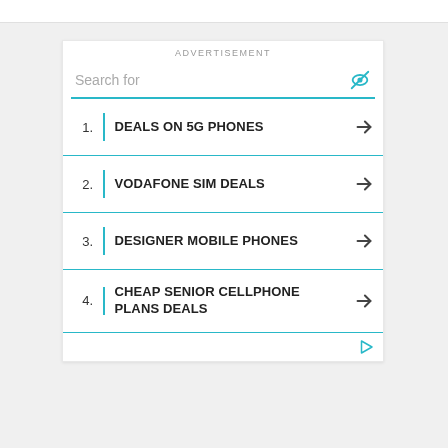ADVERTISEMENT
Search for
1. DEALS ON 5G PHONES
2. VODAFONE SIM DEALS
3. DESIGNER MOBILE PHONES
4. CHEAP SENIOR CELLPHONE PLANS DEALS